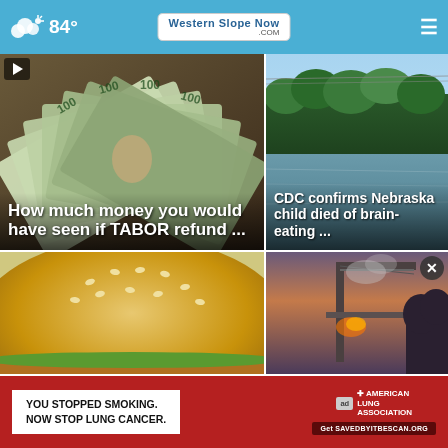84° WesternSlopeNow.com
[Figure (photo): Fan of $100 US dollar bills spread out, money background]
How much money you would have seen if TABOR refund ...
[Figure (photo): River scene with green trees and calm water, Nebraska river]
CDC confirms Nebraska child died of brain-eating ...
[Figure (photo): Close-up of sesame seed hamburger bun]
[Figure (photo): Construction equipment or industrial structure at dusk with smoke]
[Figure (screenshot): Advertisement banner: YOU STOPPED SMOKING. NOW STOP LUNG CANCER. American Lung Association. Get SAVEDBYITBESCAN.ORG]